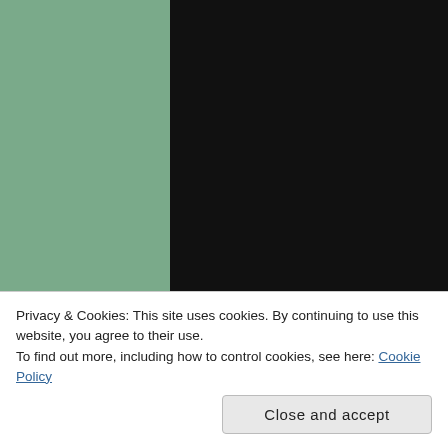[Figure (illustration): Black background card with white cursive/script text displaying a poem: 'Why won't you ever be glad.. It melts into wonder... I came in praying for you... Why won't you run into the rain and pray... and let tears splash all over you....']
Privacy & Cookies: This site uses cookies. By continuing to use this website, you agree to their use.
To find out more, including how to control cookies, see here: Cookie Policy